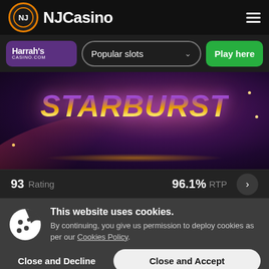NJCasino
[Figure (screenshot): NJCasino website header with logo and hamburger menu]
[Figure (screenshot): Toolbar with Harrahs Casino.com badge, Popular slots dropdown, and Play here green button]
[Figure (screenshot): Starburst slot game banner with purple and gold gradient background showing STARBURST text]
93 Rating   96.1% RTP
This website uses cookies. By continuing, you give us permission to deploy cookies as per our Cookies Policy.
Close and Decline   Close and Accept